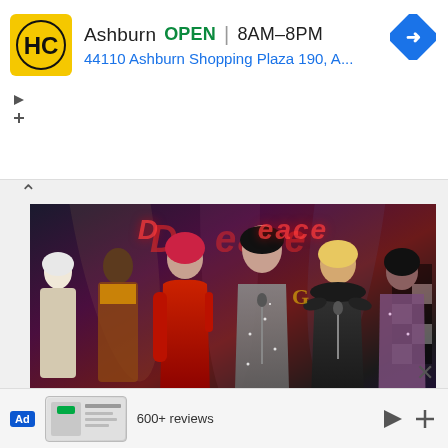[Figure (screenshot): Top advertisement banner for HC (The Home Center) showing Ashburn location: OPEN 8AM–8PM, address 44110 Ashburn Shopping Plaza 190, A..., with HC yellow logo on the left and blue navigation/directions icon on the right]
[Figure (photo): Photo of drag performers on a stage in front of a D-Peace branded backdrop. Multiple performers in colorful outfits: red dress with long red gloves, grey sparkly gown, black feathered costume, and others.]
August 17, Wednesday, marked a momentous event for the Philippine drag scene as the first episode of the world-renowned RuPaul's...
[Figure (screenshot): Bottom advertisement strip showing Ad badge, small product image, '600+ reviews' text, and navigation/close controls]